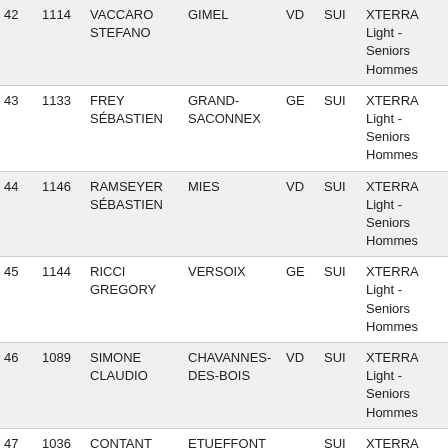| # | BIB | Name | City | Region | Country | Category | Time |
| --- | --- | --- | --- | --- | --- | --- | --- |
| 42 | 1114 | VACCARO STEFANO | GIMEL | VD | SUI | XTERRA Light - Seniors Hommes | 1 |
| 43 | 1133 | FREY SÉBASTIEN | GRAND-SACONNEX | GE | SUI | XTERRA Light - Seniors Hommes | 1 |
| 44 | 1146 | RAMSEYER SÉBASTIEN | MIES | VD | SUI | XTERRA Light - Seniors Hommes | 1 |
| 45 | 1144 | RICCI GREGORY | VERSOIX | GE | SUI | XTERRA Light - Seniors Hommes | 1 |
| 46 | 1089 | SIMONE CLAUDIO | CHAVANNES-DES-BOIS | VD | SUI | XTERRA Light - Seniors Hommes | 1 |
| 47 | 1036 | CONTANT | ETUEFFONT |  | SUI | XTERRA | 1 |